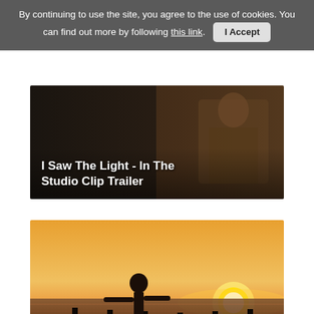By continuing to use the site, you agree to the use of cookies. You can find out more by following this link.  I Accept
[Figure (screenshot): Movie thumbnail showing two people in a dimly lit studio setting, with bold white text overlay reading 'I Saw The Light - In The Studio Clip Trailer']
[Figure (photo): Thumbnail image of a child silhouetted against a sunset over the ocean, standing on a wooden boardwalk/pier with arms outstretched, with bold white text overlay reading 'Little Boy Trailer']
[Figure (photo): Partial view of a person with long dark hair against an outdoor background, bottom of page cut off]